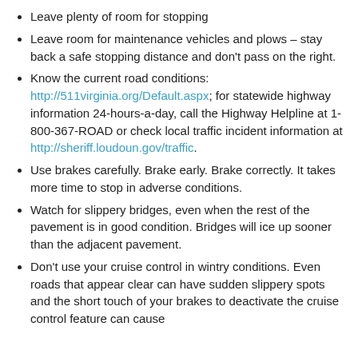Leave plenty of room for stopping
Leave room for maintenance vehicles and plows – stay back a safe stopping distance and don't pass on the right.
Know the current road conditions: http://511virginia.org/Default.aspx; for statewide highway information 24-hours-a-day, call the Highway Helpline at 1-800-367-ROAD or check local traffic incident information at http://sheriff.loudoun.gov/traffic.
Use brakes carefully. Brake early. Brake correctly. It takes more time to stop in adverse conditions.
Watch for slippery bridges, even when the rest of the pavement is in good condition. Bridges will ice up sooner than the adjacent pavement.
Don't use your cruise control in wintry conditions. Even roads that appear clear can have sudden slippery spots and the short touch of your brakes to deactivate the cruise control feature can cause...